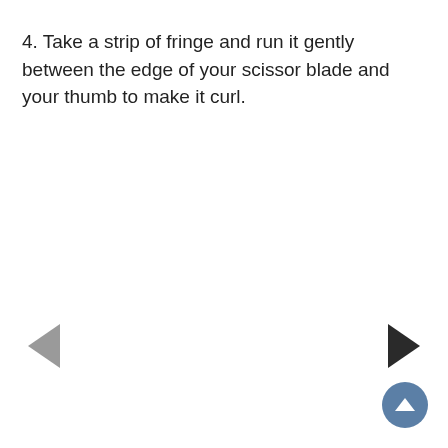4. Take a strip of fringe and run it gently between the edge of your scissor blade and your thumb to make it curl.
[Figure (other): Left navigation arrow (grey, pointing left) and right navigation arrow (dark, pointing right) at bottom of page, plus a blue circular scroll-to-top button at bottom right]